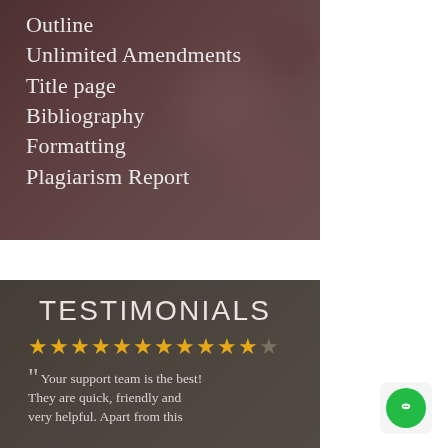[Figure (photo): Dark reddish-brown blurred background image with text overlay listing writing service features]
Outline
Unlimited Amendments
Title page
Bibliography
Formatting
Plagiarism Report
[Figure (photo): Dark brownish-gray background with TESTIMONIALS heading, star rating (11 out of 12 stars filled), and partial testimonial quote]
TESTIMONIALS
Your support team is the best! They are quick, friendly and very helpful. Apart from this